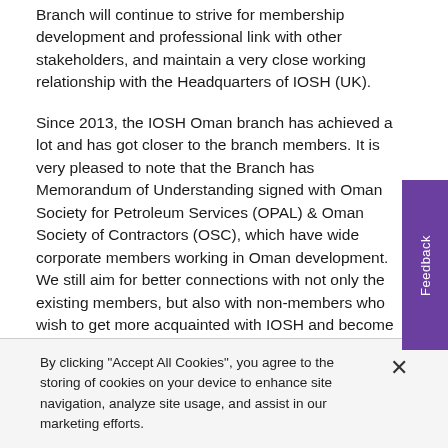Branch will continue to strive for membership development and professional link with other stakeholders, and maintain a very close working relationship with the Headquarters of IOSH (UK).
Since 2013, the IOSH Oman branch has achieved a lot and has got closer to the branch members. It is very pleased to note that the Branch has Memorandum of Understanding signed with Oman Society for Petroleum Services (OPAL) & Oman Society of Contractors (OSC), which have wide corporate members working in Oman development. We still aim for better connections with not only the existing members, but also with non-members who wish to get more acquainted with IOSH and become an active member in promoting the OHS message and awareness in the Oman.
By clicking "Accept All Cookies", you agree to the storing of cookies on your device to enhance site navigation, analyze site usage, and assist in our marketing efforts.